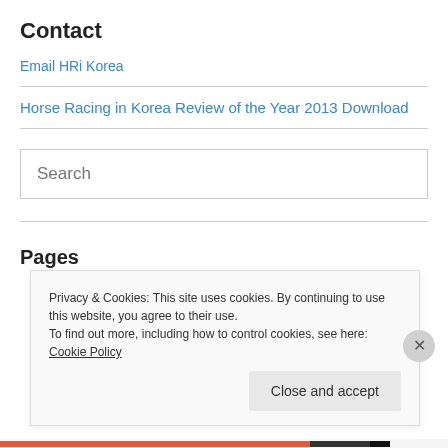Contact
Email HRi Korea
Horse Racing in Korea Review of the Year 2013 Download
Search
Pages
Privacy & Cookies: This site uses cookies. By continuing to use this website, you agree to their use.
To find out more, including how to control cookies, see here: Cookie Policy
Close and accept